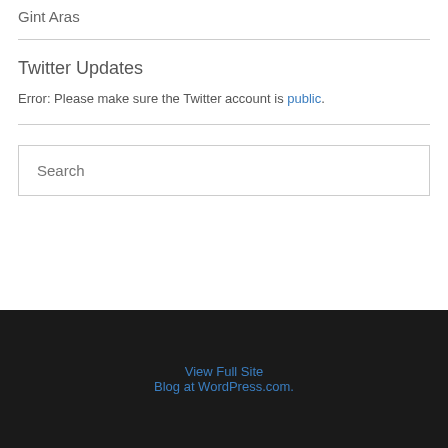Gint Aras
Twitter Updates
Error: Please make sure the Twitter account is public.
Search
View Full Site
Blog at WordPress.com.